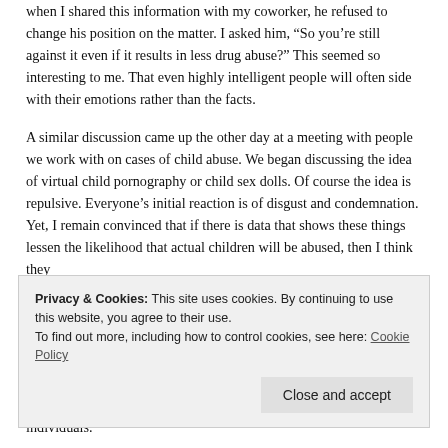when I shared this information with my coworker, he refused to change his position on the matter. I asked him, “So you’re still against it even if it results in less drug abuse?” This seemed so interesting to me. That even highly intelligent people will often side with their emotions rather than the facts.
A similar discussion came up the other day at a meeting with people we work with on cases of child abuse. We began discussing the idea of virtual child pornography or child sex dolls. Of course the idea is repulsive. Everyone’s initial reaction is of disgust and condemnation. Yet, I remain convinced that if there is data that shows these things lessen the likelihood that actual children will be abused, then I think they
Privacy & Cookies: This site uses cookies. By continuing to use this website, you agree to their use.
To find out more, including how to control cookies, see here: Cookie Policy
individuals.